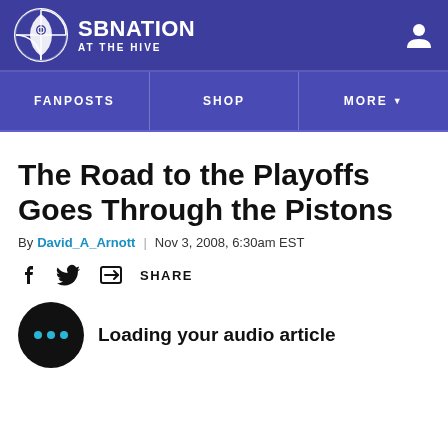SBNATION AT THE HIVE
FANPOSTS | SHOP | MORE
The Road to the Playoffs Goes Through the Pistons
By David_A_Arnott | Nov 3, 2008, 6:30am EST
SHARE
Loading your audio article